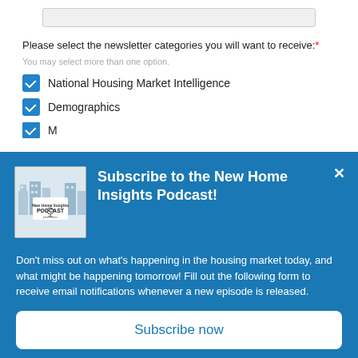Please select the newsletter categories you will want to receive:*
You may select more than one option.
National Housing Market Intelligence
Demographics
Subscribe to the New Home Insights Podcast!
Don't miss out on what's happening in the housing market today, and what might be happening tomorrow! Fill out the following form to receive email notifications whenever a new episode is released.
Subscribe now